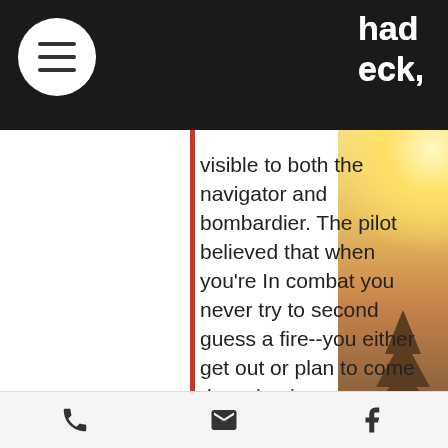had eck, visible to both the navigator
visible to both the navigator and bombardier. The pilot believed that when you're In combat you never try to second guess a fire--you either get out or plan to come down in pieces. [Author's note: After discovery of the fire, I believe the pilot's subsequent actions were ex actly correct. In particular, putting the plane on autopilot enabled the crew
phone | email | facebook